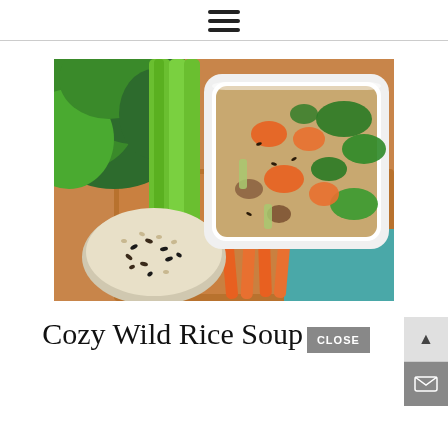≡ (hamburger menu icon)
[Figure (photo): A bowl of wild rice soup with kale, carrots, mushrooms, and celery in a creamy broth, displayed on a wooden cutting board alongside fresh kale, celery stalks, carrots, and a small bowl of wild rice blend.]
Cozy Wild Rice Soup